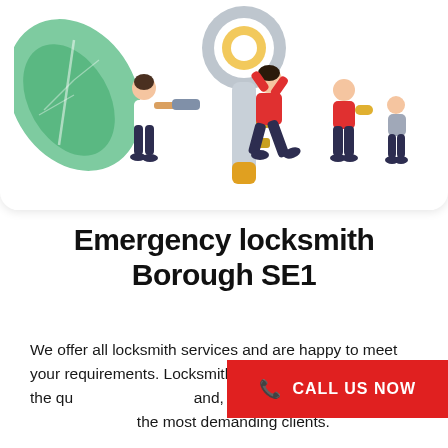[Figure (illustration): Flat-style illustration showing people working with a large key and lock. One person looks through a telescope, one person in red lifts the key overhead, two others stand nearby. Green leaves in background on white rounded card.]
Emergency locksmith Borough SE1
We offer all locksmith services and are happy to meet your requirements. Locksmiths place great emphasis on the quality of their work and, above all, on satisfying the wishes of even the most demanding clients.
CALL US NOW